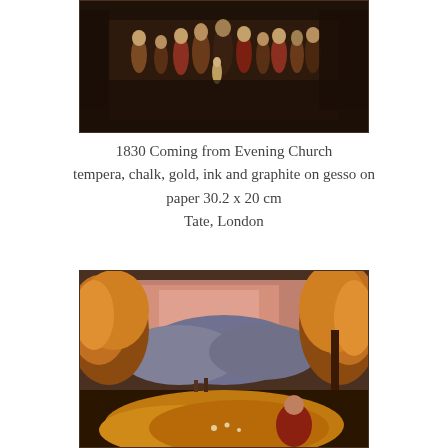[Figure (photo): A dark tempera painting showing a group of robed figures standing together, likely a religious scene of people coming from an evening church service.]
1830 Coming from Evening Church
tempera, chalk, gold, ink and graphite on gesso on paper 30.2 x 20 cm
Tate, London
[Figure (photo): A painting of an autumnal landscape with warm orange and yellow foliage, mountains in the background under a pink sky, and figures visible in the lower portion of the scene.]